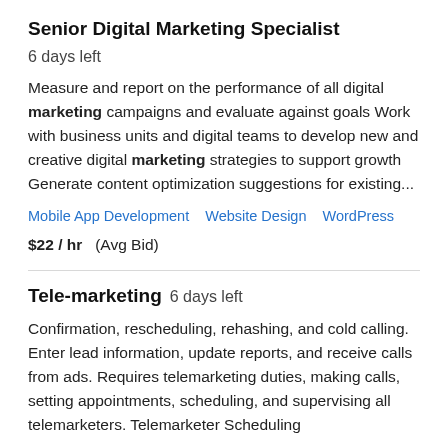Senior Digital Marketing Specialist  6 days left
Measure and report on the performance of all digital marketing campaigns and evaluate against goals Work with business units and digital teams to develop new and creative digital marketing strategies to support growth Generate content optimization suggestions for existing...
Mobile App Development   Website Design   WordPress
$22 / hr   (Avg Bid)
Tele-marketing  6 days left
Confirmation, rescheduling, rehashing, and cold calling. Enter lead information, update reports, and receive calls from ads. Requires telemarketing duties, making calls, setting appointments, scheduling, and supervising all telemarketers. Telemarketer Scheduling
Customer Support   Leads   Sales   Telemarketing
Telephone Handling